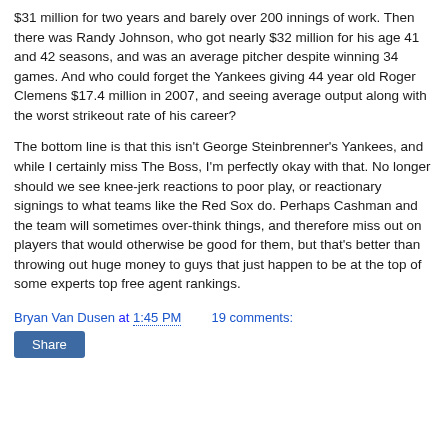$31 million for two years and barely over 200 innings of work. Then there was Randy Johnson, who got nearly $32 million for his age 41 and 42 seasons, and was an average pitcher despite winning 34 games. And who could forget the Yankees giving 44 year old Roger Clemens $17.4 million in 2007, and seeing average output along with the worst strikeout rate of his career?
The bottom line is that this isn't George Steinbrenner's Yankees, and while I certainly miss The Boss, I'm perfectly okay with that. No longer should we see knee-jerk reactions to poor play, or reactionary signings to what teams like the Red Sox do. Perhaps Cashman and the team will sometimes over-think things, and therefore miss out on players that would otherwise be good for them, but that's better than throwing out huge money to guys that just happen to be at the top of some experts top free agent rankings.
Bryan Van Dusen at 1:45 PM   19 comments: